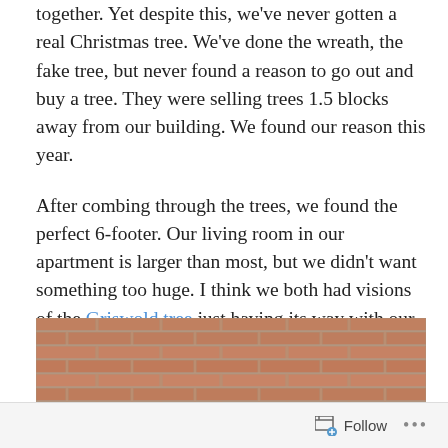together. Yet despite this, we've never gotten a real Christmas tree. We've done the wreath, the fake tree, but never found a reason to go out and buy a tree. They were selling trees 1.5 blocks away from our building. We found our reason this year.

After combing through the trees, we found the perfect 6-footer. Our living room in our apartment is larger than most, but we didn't want something too huge. I think we both had visions of the Griswold tree just having its way with our living room.
[Figure (photo): A photo of a brick wall with horizontal rows of reddish-brown bricks with mortar joints visible.]
Follow ...